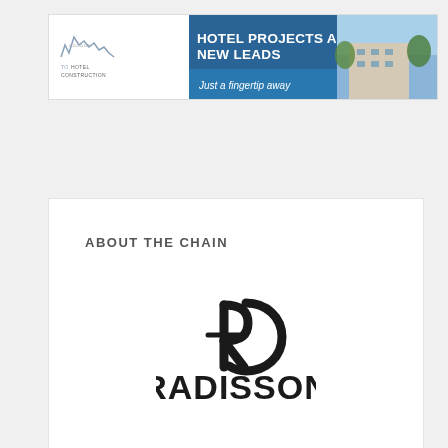[Figure (infographic): Hotel construction advertisement banner showing a building photo with text 'HOTEL PROJECTS AND NEW LEADS - Just a fingertip away' and the ToHotelConstruction logo on the left]
ABOUT THE CHAIN
[Figure (logo): Radisson hotel chain logo: stylized RC monogram icon above bold RADISSON text]